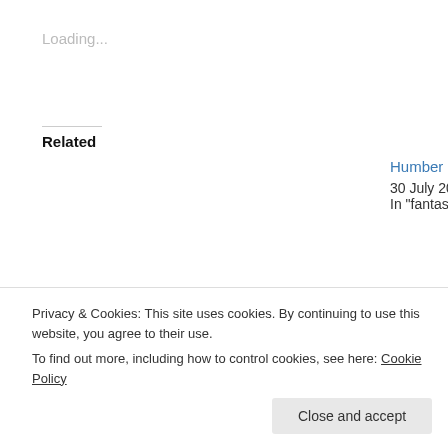Loading...
Related
Revving Up to Publication Day by Jacey Bedford
5 October 2021
In "fantasy"
Humber SFF by
30 July 2022
In "fantasy"
Milford Writers’ Retreat 2018 – by Jacey Bedford
27 February 2018
In "fantasy"
Privacy & Cookies: This site uses cookies. By continuing to use this website, you agree to their use.
To find out more, including how to control cookies, see here: Cookie Policy
Close and accept